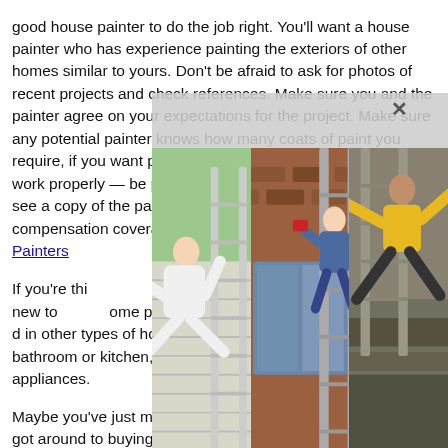good house painter to do the job right. You'll want a house painter who has experience painting the exteriors of other homes similar to yours. Don't be afraid to ask for photos of recent projects and check references. Make sure you and the painter agree on your expectations for the project. Make sure any potential painter knows how many coats of paint you require, if you want primer, and that you want the prep done work properly — be prepared to pay extra if necessary. Ask to see a copy of the painter's liability insurance and workers compensation coverage, too, and check the Denver House Painters ... If you're thinking about paint areas that look fresh and new to some potential buyers ... you have a limited budget ... in other types of home projects, such as remodeling your bathroom or kitchen, installing new floors or fixing broken appliances. Maybe you've just moved into a new home, and you haven't got around to buying brushes and rollers yet. Perhaps you're worried that your brush-skills aren't that good, and you won't achieve that professional-
[Figure (photo): Three photos showing house painters working on ladders on exterior walls of homes. Left image: person on a ladder against a light gray house. Center image: person climbing on ladder on a red brick house. Right image: person in yellow shirt on scaffolding/ladder equipment.]